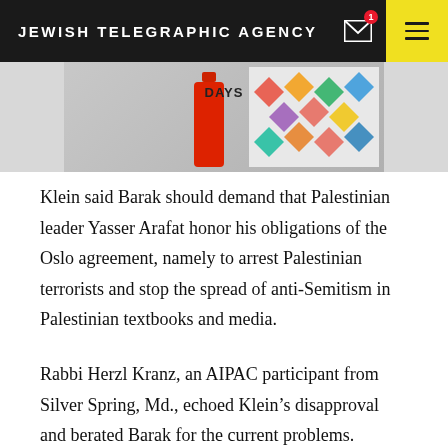JEWISH TELEGRAPHIC AGENCY
[Figure (photo): Partial advertisement image showing the word DAYS and a red bottle shape with geometric colorful pattern background]
Klein said Barak should demand that Palestinian leader Yasser Arafat honor his obligations of the Oslo agreement, namely to arrest Palestinian terrorists and stop the spread of anti-Semitism in Palestinian textbooks and media.
Rabbi Herzl Kranz, an AIPAC participant from Silver Spring, Md., echoed Klein’s disapproval and berated Barak for the current problems.